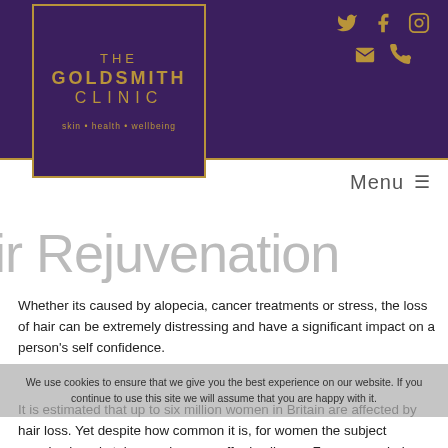[Figure (logo): The Goldsmith Clinic logo — purple box with gold border, gold text reading THE GOLDSMITH CLINIC, tagline: skin • health • wellbeing]
THE GOLDSMITH CLINIC — social icons (Twitter, Facebook, Instagram, email, phone), Menu ≡
ir Rejuvenation
Whether its caused by alopecia, cancer treatments or stress, the loss of hair can be extremely distressing and have a significant impact on a person's self confidence.
We use cookies to ensure that we give you the best experience on our website. If you continue to use this site we will assume that you are happy with it.
It is estimated that up to six million women in Britain are affected by hair loss. Yet despite how common it is, for women the subject remains largely taboo and many suffer in silence. For women, hair loss is often linked to hormonal changes, commonly the menopause.